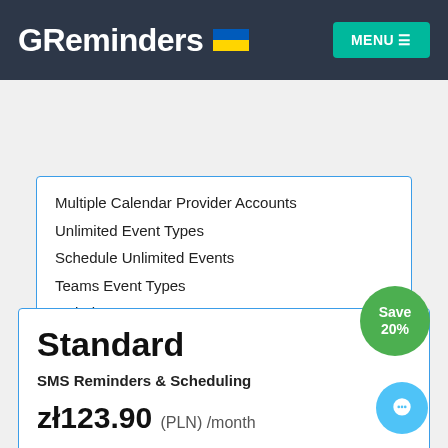GReminders MENU
Multiple Calendar Provider Accounts
Unlimited Event Types
Schedule Unlimited Events
Teams Event Types
Includes 1 User
each Additional User zł34.95 per Month
Standard
SMS Reminders & Scheduling
zł123.90 (PLN) /month